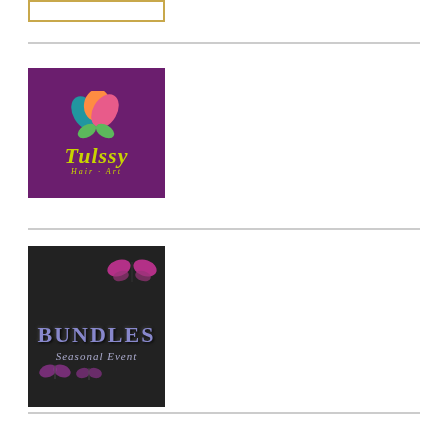[Figure (logo): Gold-bordered white rectangle logo placeholder at top]
[Figure (logo): Tulssy Hair Art logo on purple background with flower icon and lime green text]
[Figure (logo): Bundles Seasonal Event logo on dark chalkboard background with butterflies and purple text]